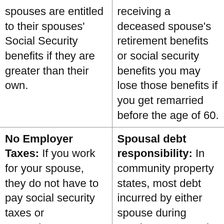| spouses are entitled to their spouses' Social Security benefits if they are greater than their own. | receiving a deceased spouse's retirement benefits or social security benefits you may lose those benefits if you get remarried before the age of 60. |
| No Employer Taxes: If you work for your spouse, they do not have to pay social security taxes or unemployment taxes on your behalf. | Spousal debt responsibility: In community property states, most debt incurred by either spouse during marriage are owed jointly by the couple, even if only one spouse signed for the debt. |
| “Being Married” - Dr. Phil | “Being Married” |